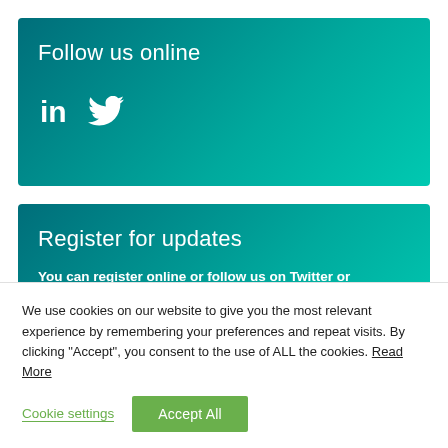Follow us online
[Figure (illustration): LinkedIn and Twitter social media icons in white on teal gradient background]
Register for updates
You can register online or follow us on Twitter or
We use cookies on our website to give you the most relevant experience by remembering your preferences and repeat visits. By clicking “Accept”, you consent to the use of ALL the cookies. Read More
Cookie settings    Accept All